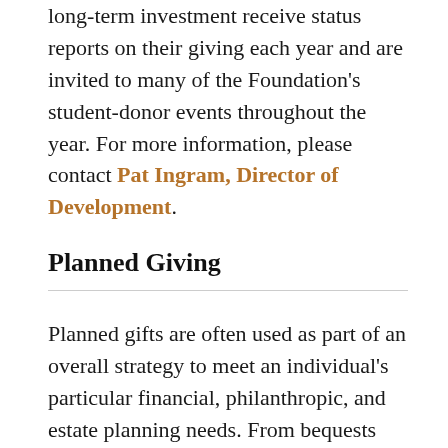long-term investment receive status reports on their giving each year and are invited to many of the Foundation's student-donor events throughout the year. For more information, please contact Pat Ingram, Director of Development.
Planned Giving
Planned gifts are often used as part of an overall strategy to meet an individual's particular financial, philanthropic, and estate planning needs. From bequests and life insurance policies to gift annuities and charitable remainder trusts